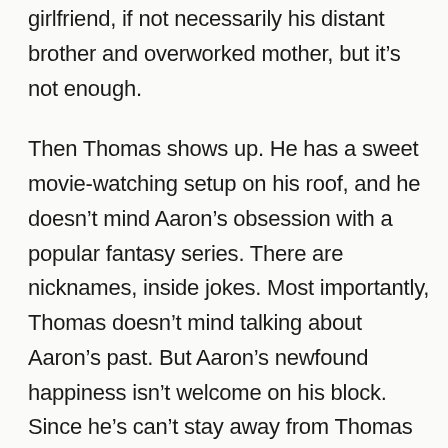girlfriend, if not necessarily his distant brother and overworked mother, but it's not enough.

Then Thomas shows up. He has a sweet movie-watching setup on his roof, and he doesn't mind Aaron's obsession with a popular fantasy series. There are nicknames, inside jokes. Most importantly, Thomas doesn't mind talking about Aaron's past. But Aaron's newfound happiness isn't welcome on his block. Since he's can't stay away from Thomas or suddenly stop being gay, Aaron must turn to Leteo to straighten himself out, even if it means forgetting who he is.

Adam Silvera's extraordinary debut novel offers a unique confrontation of race, class and sexuality...